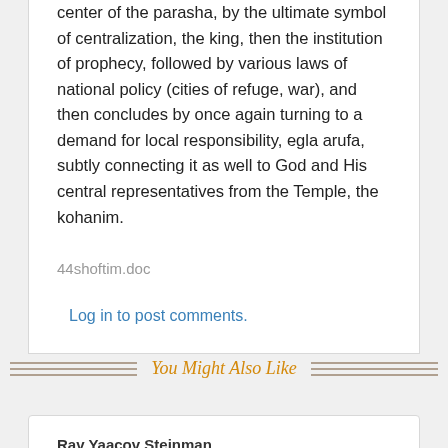center of the parasha, by the ultimate symbol of centralization, the king, then the institution of prophecy, followed by various laws of national policy (cities of refuge, war), and then concludes by once again turning to a demand for local responsibility, egla arufa, subtly connecting it as well to God and His central representatives from the Temple, the kohanim.
44shoftim.doc
Log in to post comments.
You Might Also Like
Rav Yaacov Steinman